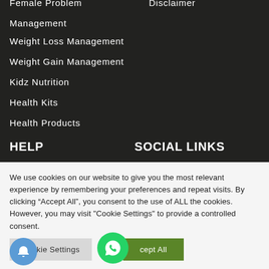Female Problem Management
Disclaimer
Management
Weight Loss Management
Weight Gain Management
Kidz Nutrition
Health Kits
Health Products
HELP
SOCIAL LINKS
We use cookies on our website to give you the most relevant experience by remembering your preferences and repeat visits. By clicking “Accept All”, you consent to the use of ALL the cookies. However, you may visit "Cookie Settings" to provide a controlled consent.
Cookie Settings
Accept All